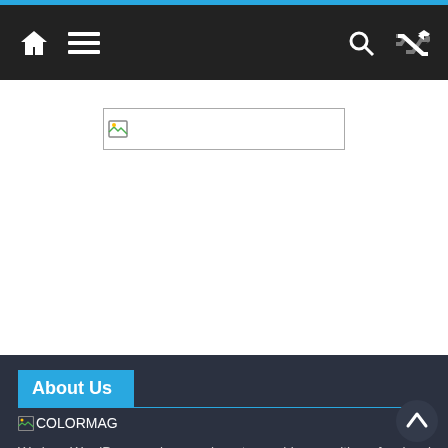Navigation bar with home icon, menu icon, search icon, shuffle icon
[Figure (screenshot): Broken image placeholder with small image icon and empty space inside a bordered rectangle]
About Us
[Figure (logo): COLORMAG broken image placeholder logo]
We love WordPress and we are here to provide you with professional looking WordPress themes so that you can take your website one step ahead. We focus on simplicity, elegant